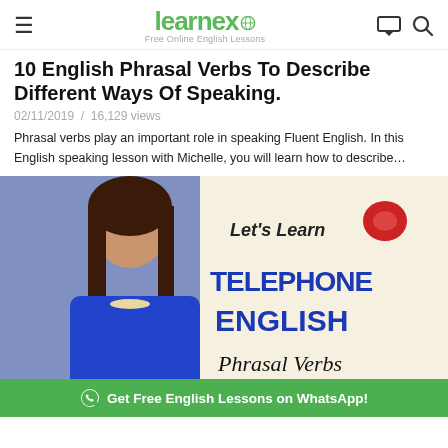learnex - Free Online English Lessons
10 English Phrasal Verbs To Describe Different Ways Of Speaking.
02/11/2019 / 16,129 views
Phrasal verbs play an important role in speaking Fluent English. In this English speaking lesson with Michelle, you will learn how to describe…
[Figure (photo): Thumbnail image of a woman in a blue top next to text 'Let's Learn TELEPHONE ENGLISH Phrasal Verbs' with a red telephone icon. A WhatsApp promotional bar is overlaid at the bottom reading 'Get Free English Lessons on WhatsApp!']